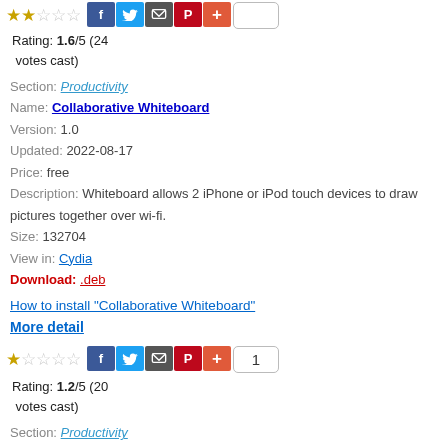[Figure (other): Star rating row with social share icons and count badge for first entry (partial, at top)]
Rating: 1.6/5 (24 votes cast)
Section: Productivity
Name: Collaborative Whiteboard
Version: 1.0
Updated: 2022-08-17
Price: free
Description: Whiteboard allows 2 iPhone or iPod touch devices to draw pictures together over wi-fi.
Size: 132704
View in: Cydia
Download: .deb
How to install "Collaborative Whiteboard"
More detail
[Figure (other): Star rating row with social share icons and count badge (1) for second entry]
Rating: 1.2/5 (20 votes cast)
Section: Productivity
Name: FerryCombo
Version: 1.0
Updated: 2022-08-17
Price: free
Description: Tip calculator written in French.
Size: 48572
View in: Cydia